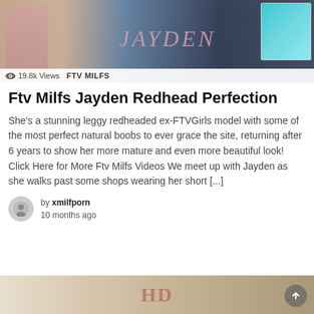[Figure (photo): Thumbnail image of Jayden with magazine cover style layout, showing 'JAYDEN' text overlay]
19.8k Views   FTV MILFS
Ftv Milfs Jayden Redhead Perfection
She's a stunning leggy redheaded ex-FTVGirls model with some of the most perfect natural boobs to ever grace the site, returning after 6 years to show her more mature and even more beautiful look! Click Here for More Ftv Milfs Videos We meet up with Jayden as she walks past some shops wearing her short [...]
by xmilfporn
10 months ago
[Figure (photo): Bottom thumbnail image partially visible]